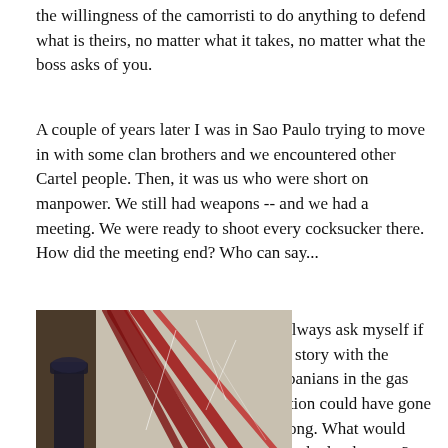the willingness of the camorristi to do anything to defend what is theirs, no matter what it takes, no matter what the boss asks of you.
A couple of years later I was in Sao Paulo trying to move in with some clan brothers and we encountered other Cartel people. Then, it was us who were short on manpower. We still had weapons -- and we had a meeting. We were ready to shoot every cocksucker there. How did the meeting end? Who can say...
[Figure (photo): A close-up photo of a shattered/bloodied car windshield with red streaks, and a police officer (carabinieri) visible in the background.]
I always ask myself if the story with the Albanians in the gas station could have gone wrong. What would have had to happen? When your life then becomes a